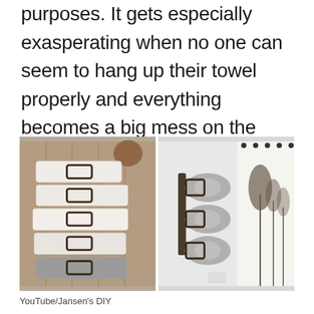purposes. It gets especially exasperating when no one can seem to hang up their towel properly and everything becomes a big mess on the floor.
[Figure (photo): Two side-by-side photos showing towel rack organizers. Left photo: multiple folded white and gray towels stacked on metal rack holders mounted on a rustic wood plank wall. Right photo: three rolled gray towels in metal rack holders mounted on a white bathroom wall, with a decorative tree-print shower curtain visible on the right.]
YouTube/Jansen's DIY